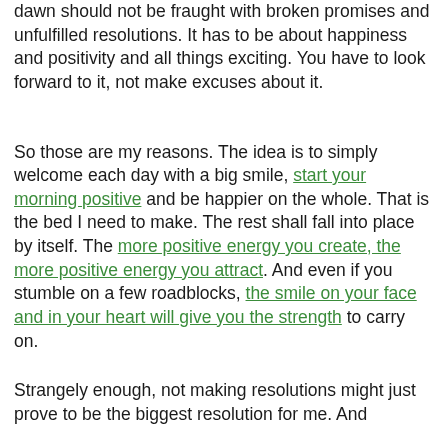dawn should not be fraught with broken promises and unfulfilled resolutions. It has to be about happiness and positivity and all things exciting. You have to look forward to it, not make excuses about it.
So those are my reasons. The idea is to simply welcome each day with a big smile, start your morning positive and be happier on the whole. That is the bed I need to make. The rest shall fall into place by itself. The more positive energy you create, the more positive energy you attract. And even if you stumble on a few roadblocks, the smile on your face and in your heart will give you the strength to carry on.
Strangely enough, not making resolutions might just prove to be the biggest resolution for me. And